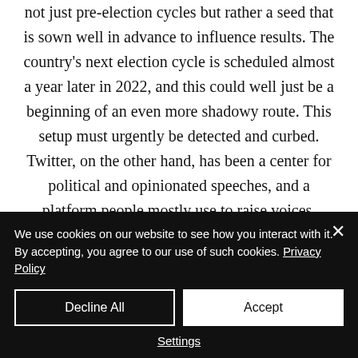not just pre-election cycles but rather a seed that is sown well in advance to influence results. The country's next election cycle is scheduled almost a year later in 2022, and this could well just be a beginning of an even more shadowy route. This setup must urgently be detected and curbed. Twitter, on the other hand, has been a center for political and opinionated speeches, and a platform people mostly use to raise voices.
We use cookies on our website to see how you interact with it. By accepting, you agree to our use of such cookies. Privacy Policy